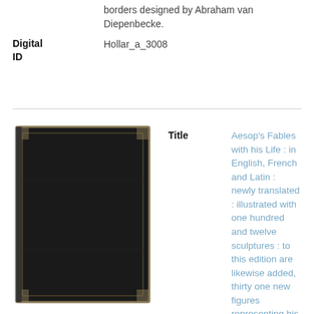borders designed by Abraham van Diepenbecke.
Digital ID
Hollar_a_3008
[Figure (photo): Dark-covered book, viewed from the front, with decorative corners visible.]
Title
Aesop's Fables with his Life : in English, French and Latin : newly translated : illustrated with one hundred and twelve sculptures : to this edition are likewise added, thirty one new figures representing his life / by Francis Barlow.
Classification
Fables